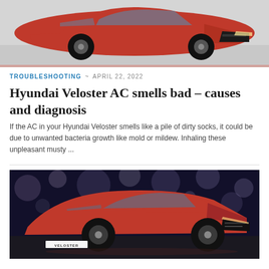[Figure (photo): Red Hyundai Veloster car photographed from front-right angle in a studio/garage setting, cropped at top of page]
TROUBLESHOOTING ~ APRIL 22, 2022
Hyundai Veloster AC smells bad – causes and diagnosis
If the AC in your Hyundai Veloster smells like a pile of dirty socks, it could be due to unwanted bacteria growth like mold or mildew. Inhaling these unpleasant musty ...
[Figure (photo): Red Hyundai Veloster car at an auto show with blue bokeh background lighting, VELOSTER badge visible on display stand]